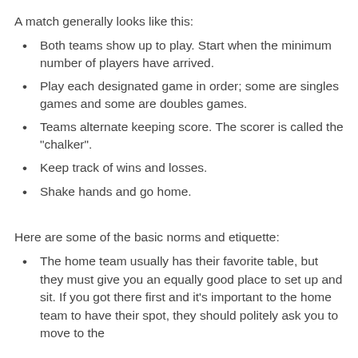A match generally looks like this:
Both teams show up to play. Start when the minimum number of players have arrived.
Play each designated game in order; some are singles games and some are doubles games.
Teams alternate keeping score. The scorer is called the "chalker".
Keep track of wins and losses.
Shake hands and go home.
Here are some of the basic norms and etiquette:
The home team usually has their favorite table, but they must give you an equally good place to set up and sit. If you got there first and it's important to the home team to have their spot, they should politely ask you to move to the...